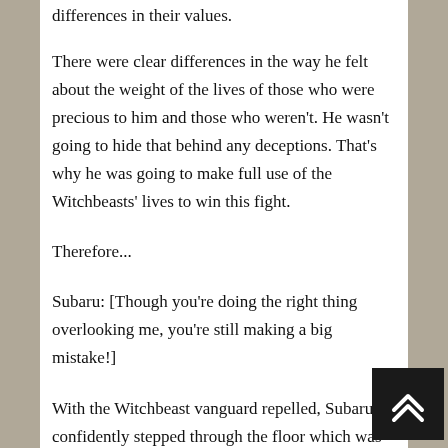differences in their values.
There were clear differences in the way he felt about the weight of the lives of those who were precious to him and those who weren't. He wasn't going to hide that behind any deceptions. That's why he was going to make full use of the Witchbeasts' lives to win this fight.
Therefore...
Subaru: [Though you're doing the right thing overlooking me, you're still making a big mistake!]
With the Witchbeast vanguard repelled, Subaru confidently stepped through the floor which was now coated red. Carrying Beatrice in his left arm, he drew out his whip with his right and swung it up